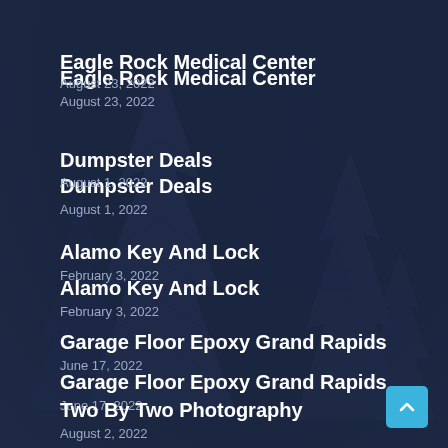Eagle Rock Medical Center
August 23, 2022
Dumpster Deals
August 1, 2022
Alamo Key And Lock
February 3, 2022
Garage Floor Epoxy Grand Rapids
June 17, 2022
Two By Two Photography
August 2, 2022
[Figure (illustration): Dark navy background with faint pine/fir tree silhouettes, decorative background pattern]